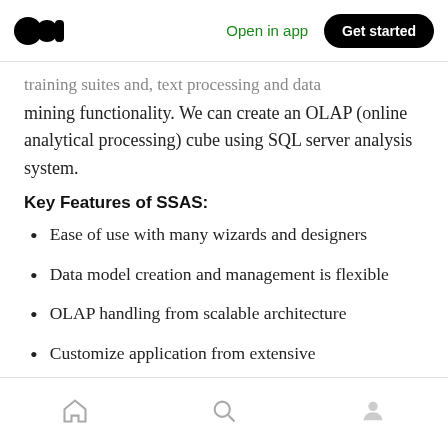Open in app | Get started
…training suites and, text processing and data mining functionality. We can create an OLAP (online analytical processing) cube using SQL server analysis system.
Key Features of SSAS:
Ease of use with many wizards and designers
Data model creation and management is flexible
OLAP handling from scalable architecture
Customize application from extensive